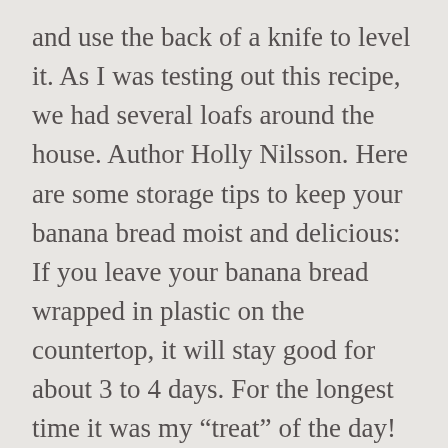and use the back of a knife to level it. As I was testing out this recipe, we had several loafs around the house. Author Holly Nilsson. Here are some storage tips to keep your banana bread moist and delicious: If you leave your banana bread wrapped in plastic on the countertop, it will stay good for about 3 to 4 days. For the longest time it was my “treat” of the day! This information will not be used for any purpose other than enabling you to post a comment. I’ll eat it however it’s given to me, I just want to eat it. Add the dry ingredients and mix just until combined. A plain slice of banana bread can really hit the spot! Total Time 3 hours 5 minutes. I can’t get sour cream where I live, it’s just not here, it’s 13 I made some...